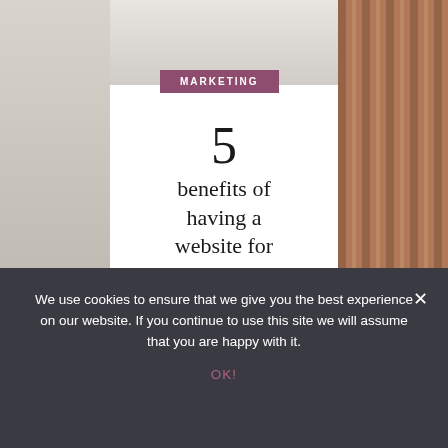[Figure (photo): Background photo of a room setting, with light grey wall on the left side and striped textile/clothing visible on the right side]
MARKETING
5 benefits of having a website for your small
We use cookies to ensure that we give you the best experience on our website. If you continue to use this site we will assume that you are happy with it.
OK!